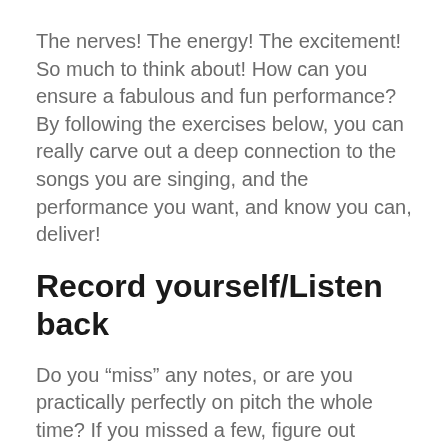The nerves! The energy! The excitement! So much to think about! How can you ensure a fabulous and fun performance? By following the exercises below, you can really carve out a deep connection to the songs you are singing, and the performance you want, and know you can, deliver!
Record yourself/Listen back
Do you “miss” any notes, or are you practically perfectly on pitch the whole time? If you missed a few, figure out where they were, what vowel is being sung, and see if you can better establish the “pitch center” of the word. If the note is in a bridge area of the voice, you may need to modify the vowel slightly to keep it in